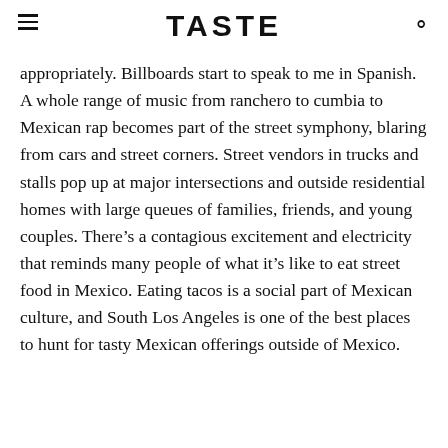TASTE
appropriately. Billboards start to speak to me in Spanish. A whole range of music from ranchero to cumbia to Mexican rap becomes part of the street symphony, blaring from cars and street corners. Street vendors in trucks and stalls pop up at major intersections and outside residential homes with large queues of families, friends, and young couples. There’s a contagious excitement and electricity that reminds many people of what it’s like to eat street food in Mexico. Eating tacos is a social part of Mexican culture, and South Los Angeles is one of the best places to hunt for tasty Mexican offerings outside of Mexico.